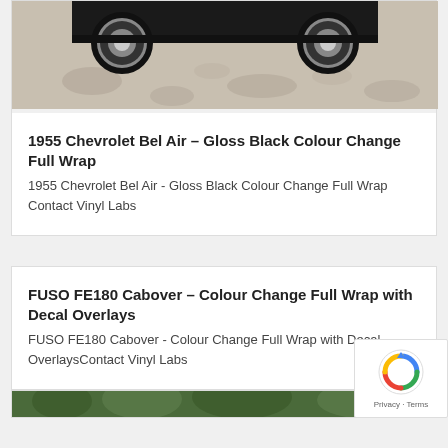[Figure (photo): Bottom portion of a classic car (1955 Chevrolet Bel Air) showing undercarriage and wheels on dappled sunlight pavement]
1955 Chevrolet Bel Air – Gloss Black Colour Change Full Wrap
1955 Chevrolet Bel Air - Gloss Black Colour Change Full Wrap Contact Vinyl Labs
FUSO FE180 Cabover – Colour Change Full Wrap with Decal Overlays
FUSO FE180 Cabover - Colour Change Full Wrap with Decal OverlaysContact Vinyl Labs
[Figure (photo): Partial view of a vehicle or scene with trees in background]